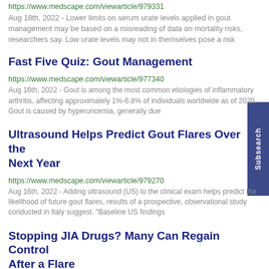https://www.medscape.com/viewarticle/979331
Aug 18th, 2022 - Lower limits on serum urate levels applied in gout management may be based on a misreading of data on mortality risks, researchers say. Low urate levels may not in themselves pose a risk
Fast Five Quiz: Gout Management
https://www.medscape.com/viewarticle/977340
Aug 16th, 2022 - Gout is among the most common etiologies of inflammatory arthritis, affecting approximately 1%-6.8% of individuals worldwide as of 2020. Gout is caused by hyperuricemia, generally due
Ultrasound Helps Predict Gout Flares Over the Next Year
https://www.medscape.com/viewarticle/979270
Aug 16th, 2022 - Adding ultrasound (US) to the clinical exam helps predict the likelihood of future gout flares, results of a prospective, observational study conducted in Italy suggest. "Baseline US findings
Stopping JIA Drugs? Many Can Regain Control After a Flare
https://www.medscape.com/viewarticle/979101
Aug 11th, 2022 - About two-thirds of children with juvenile idiopathic arthritis (JIA) were able to return to an inactive disease state within 12